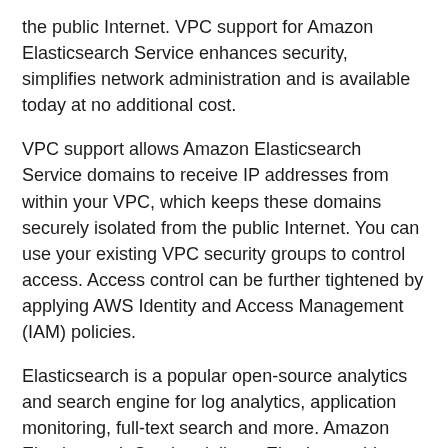the public Internet. VPC support for Amazon Elasticsearch Service enhances security, simplifies network administration and is available today at no additional cost.
VPC support allows Amazon Elasticsearch Service domains to receive IP addresses from within your VPC, which keeps these domains securely isolated from the public Internet. You can use your existing VPC security groups to control access. Access control can be further tightened by applying AWS Identity and Access Management (IAM) policies.
Elasticsearch is a popular open-source analytics and search engine for log analytics, application monitoring, full-text search and more. Amazon Elasticsearch Service delivers Elasticsearch's easy-to-use APIs and real-time capabilities along with the security, availability, and scalability required by production workloads.
VPC support is available in 14 regions: US East (N. Virginia), US East (Ohio), US West (Oregon), US West (N. California), Canada (Central), South America (Sao Paulo), EU (Ireland), EU (London), EU (Frankfurt)